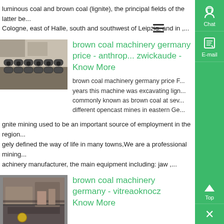luminous coal and brown coal (lignite), the principal fields of the latter be... Cologne, east of Halle, south and southwest of Leipzig, and in ,...
[Figure (photo): Industrial machinery parts — metal chain links/rollers in a workshop setting]
brown coal machinery germany price - anthropzwickaude - Know More
brown coal machinery germany price F... years this machine was excavating lign... commonly known as brown coal at sev... different opencast mines in eastern Ge...
gnite mining used to be an important source of employment in the region... gely defined the way of life in many towns,We are a professional mining... achinery manufacturer, the main equipment including: jaw ,...
[Figure (photo): Industrial machinery or equipment in a factory/workshop]
brown coal machinery germany - vitreaoknocz Know More